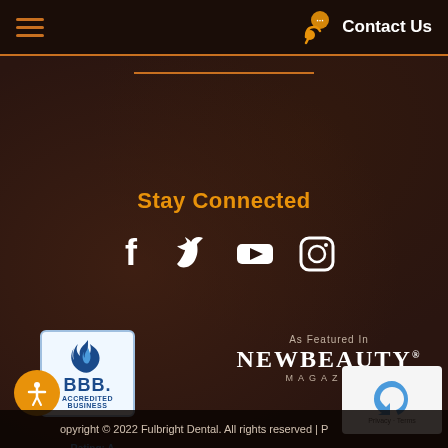Contact Us
Stay Connected
[Figure (infographic): Social media icons: Facebook, Twitter, YouTube, Instagram]
[Figure (logo): BBB Accredited Business badge with Rating A]
[Figure (logo): As Featured In - NEWBEAUTY MAGAZINE]
[Figure (other): reCAPTCHA Privacy - Terms widget]
Copyright © 2022 Fulbright Dental. All rights reserved | P...